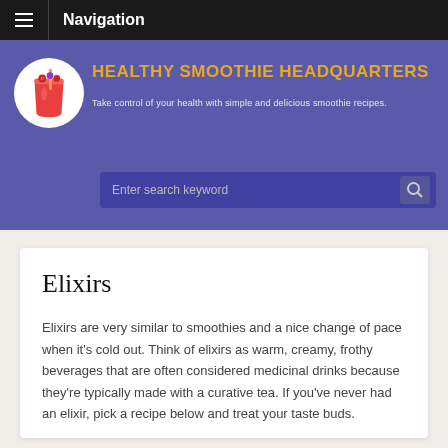Navigation
[Figure (logo): Healthy Smoothie Headquarters logo with smoothie cup illustration and berries, site title in gold text and tagline in light text on purple/blue background, with search bar]
Elixirs
Elixirs are very similar to smoothies and a nice change of pace when it's cold out. Think of elixirs as warm, creamy, frothy beverages that are often considered medicinal drinks because they're typically made with a curative tea. If you've never had an elixir, pick a recipe below and treat your taste buds.